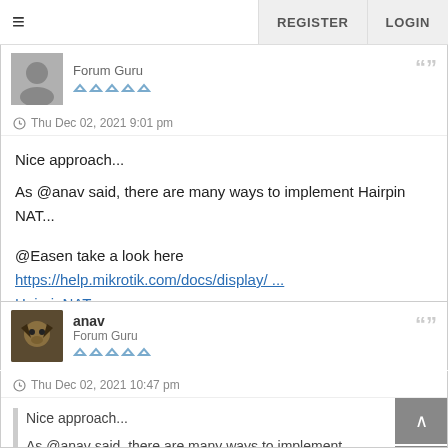≡   REGISTER   LOGIN
Forum Guru
Thu Dec 02, 2021 9:01 pm
Nice approach...
As @anav said, there are many ways to implement Hairpin NAT...

@Easen take a look here https://help.mikrotik.com/docs/display/ ... HairpinNAT
anav
Forum Guru
Thu Dec 02, 2021 10:47 pm
Nice approach...
As @anav said, there are many ways to implement Hairpin NAT...

@Easen take a look here